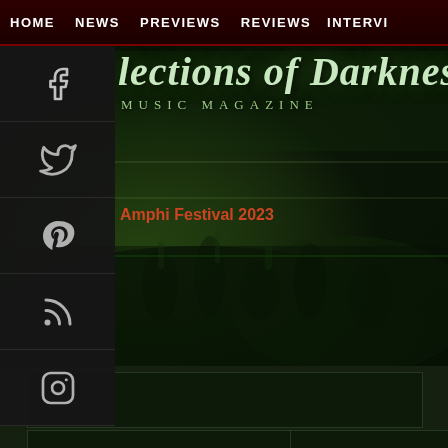HOME  NEWS  PREVIEWS  REVIEWS  INTERVI...
[Figure (screenshot): Social media sidebar icons: Facebook, Twitter, Pinterest, RSS, Instagram on dark background]
lections of Darkness — Music Magazine
[Figure (photo): Hero banner with dark green-tinted crowd/concert photo background]
Amphi Festival 2023
Specials
Translate